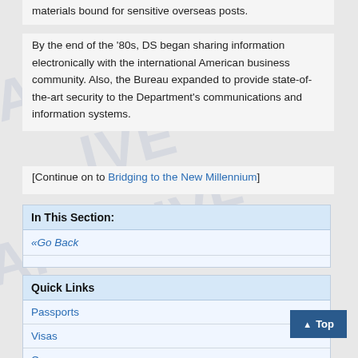materials bound for sensitive overseas posts.
By the end of the '80s, DS began sharing information electronically with the international American business community. Also, the Bureau expanded to provide state-of-the-art security to the Department's communications and information systems.
[Continue on to Bridging to the New Millennium]
In This Section:
«Go Back
Quick Links
Passports
Visas
Careers
Diversity Visa
Travel Warnings